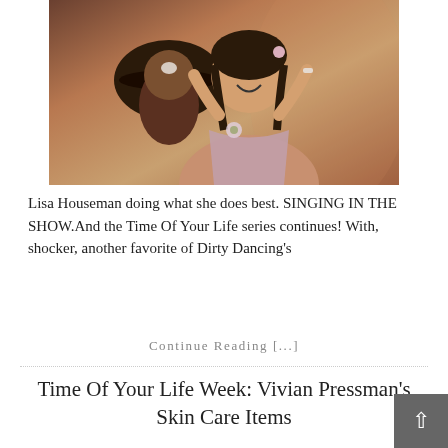[Figure (photo): A woman in a lacy top with flowers, laughing and posing, with a man in a pirate hat behind her, in a stage/show setting.]
Lisa Houseman doing what she does best. SINGING IN THE SHOW.And the Time Of Your Life series continues! With, shocker, another favorite of Dirty Dancing's
Continue Reading [...]
Time Of Your Life Week: Vivian Pressman's Skin Care Items